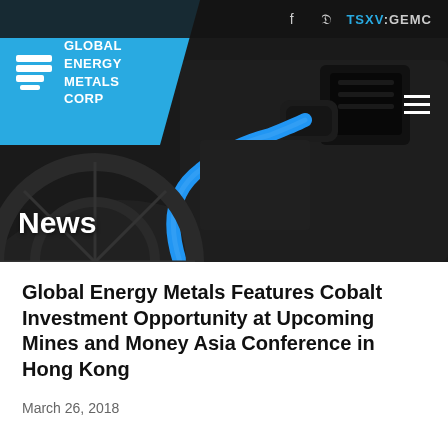[Figure (photo): Hero image showing an electric vehicle charging port with a blue EV charging cable plugged in, dark background. Company logo and navigation overlay on top.]
f  ⬩  TSXV:GEMC
Global Energy Metals Features Cobalt Investment Opportunity at Upcoming Mines and Money Asia Conference in Hong Kong
March 26, 2018